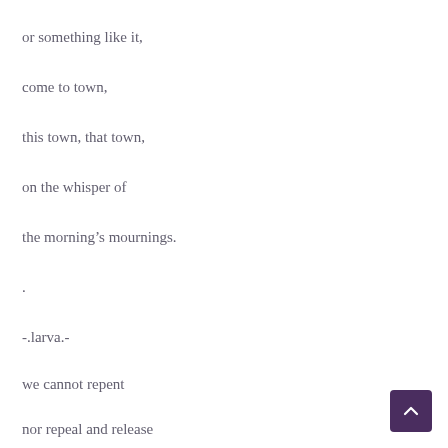or something like it,
come to town,
this town, that town,
on the whisper of
the morning's mournings.
.
-.larva.-
we cannot repent
nor repeal and release